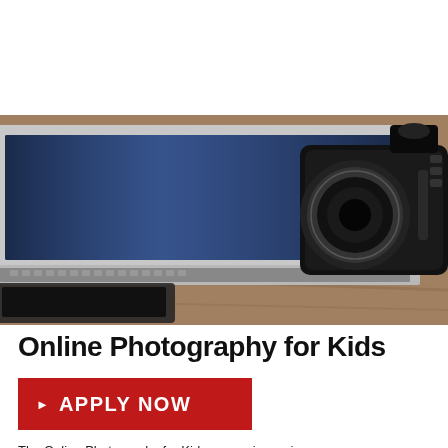[Figure (photo): Banner photo showing a DSLR camera next to an open laptop on a wooden desk, with a tablet in the foreground]
Online Photography for Kids
▶  APPLY NOW
The Online Photography for Kids course is coming...